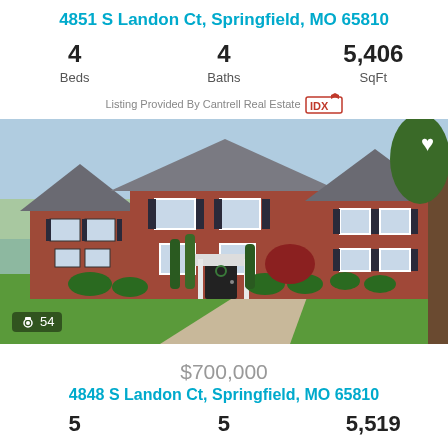4851 S Landon Ct, Springfield, MO 65810
4  Beds   4  Baths   5,406  SqFt
Listing Provided By Cantrell Real Estate IDX
[Figure (photo): Front exterior of a two-story brick house with dark shutters, green lawn, and landscaping. Camera icon with photo count 54 overlaid on lower left.]
$700,000
4848 S Landon Ct, Springfield, MO 65810
5  Beds   5  Baths   5,519  SqFt